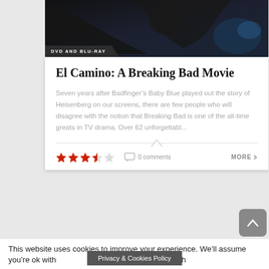[Figure (photo): Dark photo of a person in black leather jacket, partially visible]
DVD AND BLU-RAY
El Camino: A Breaking Bad Movie
Seven years after Badfinger’s Baby Blue played out the story of Heisenberg on our screens, there are few people who will disagree with the notion that Breaking Bad is one of the all-time greats in TV drama. Over 62 unforgettabl...
0 comments
MORE
This website uses cookies to improve your experience. We’ll assume you’re ok with
Privacy & Cookies Policy